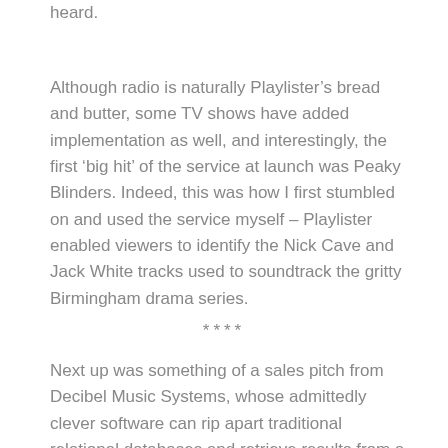heard.
Although radio is naturally Playlister’s bread and butter, some TV shows have added implementation as well, and interestingly, the first ‘big hit’ of the service at launch was Peaky Blinders. Indeed, this was how I first stumbled on and used the service myself – Playlister enabled viewers to identify the Nick Cave and Jack White tracks used to soundtrack the gritty Birmingham drama series.
****
Next up was something of a sales pitch from Decibel Music Systems, whose admittedly clever software can rip apart traditional relational databases and retrieve results from a graph database, allowing queries of increasing complexity. Examples were given of drilling right down into segments of tracks, or grouping results by seemingly abstract links.